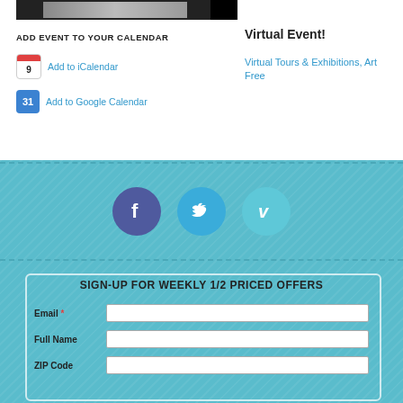[Figure (screenshot): Image bar at top of event page showing a partial photo]
ADD EVENT TO YOUR CALENDAR
Add to iCalendar
Add to Google Calendar
Virtual Event!
Virtual Tours & Exhibitions, Art
Free
[Figure (infographic): Social media icons: Facebook, Twitter, Vimeo]
SIGN-UP FOR WEEKLY 1/2 PRICED OFFERS
Email * [input field]
Full Name [input field]
ZIP Code [input field]